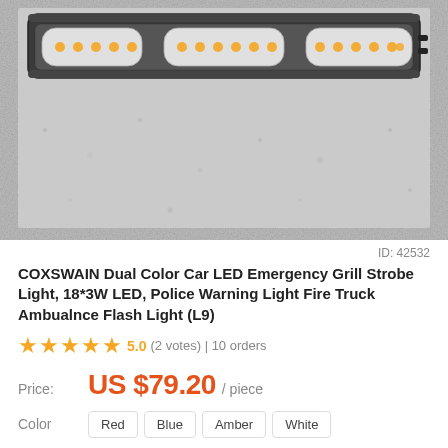[Figure (photo): Photo of COXSWAIN dual color car LED emergency grill strobe light bar with three LED modules, photographed on a gray granular surface.]
ID: 42532
COXSWAIN Dual Color Car LED Emergency Grill Strobe Light, 18*3W LED, Police Warning Light Fire Truck Ambualnce Flash Light (L9)
★★★★★ 5.0 (2 votes) | 10 orders
Price: US $79.20 / piece
Color   Red   Blue   Amber   White